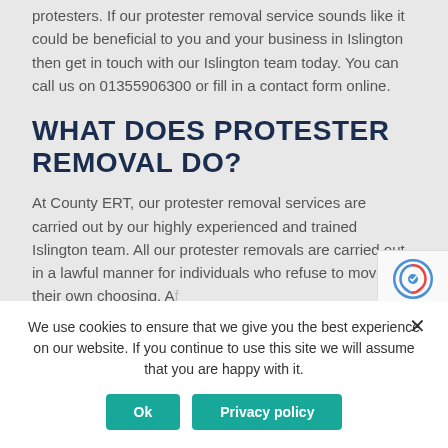protesters. If our protester removal service sounds like it could be beneficial to you and your business in Islington then get in touch with our Islington team today. You can call us on 01355906300 or fill in a contact form online.
WHAT DOES PROTESTER REMOVAL DO?
At County ERT, our protester removal services are carried out by our highly experienced and trained Islington team. All our protester removals are carried out in a lawful manner for individuals who refuse to move of their own choosing. After receiving thorough training, our Islington ERT team are able to remove them in a legal and safe manner. Our team is made up of retired enforcement officers who are medically fit, qualified in...
We use cookies to ensure that we give you the best experience on our website. If you continue to use this site we will assume that you are happy with it.